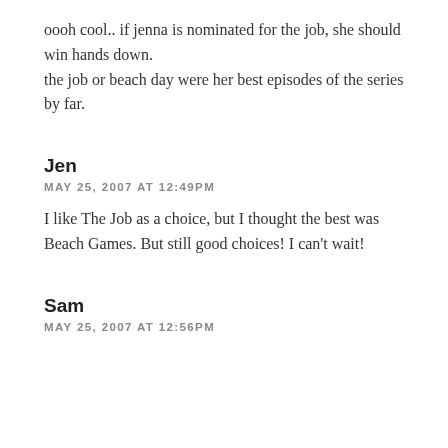oooh cool.. if jenna is nominated for the job, she should win hands down.
the job or beach day were her best episodes of the series by far.
Jen
MAY 25, 2007 AT 12:49PM
I like The Job as a choice, but I thought the best was Beach Games. But still good choices! I can't wait!
Sam
MAY 25, 2007 AT 12:56PM